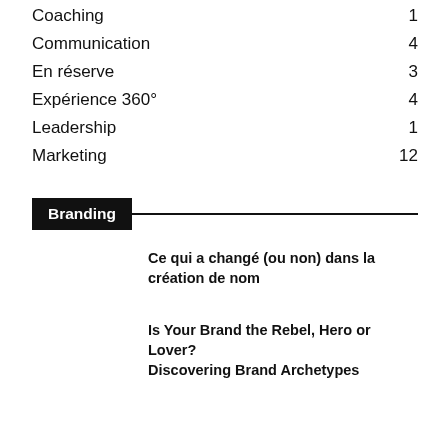Coaching 1
Communication 4
En réserve 3
Expérience 360° 4
Leadership 1
Marketing 12
Branding
Ce qui a changé (ou non) dans la création de nom
Is Your Brand the Rebel, Hero or Lover? Discovering Brand Archetypes